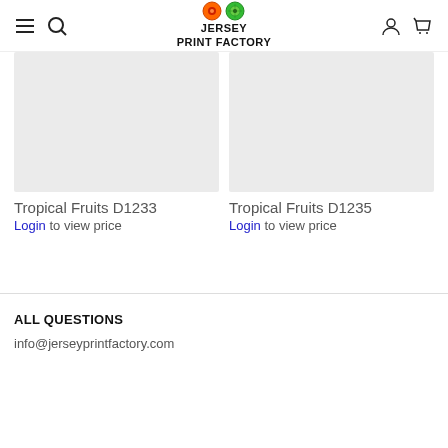Jersey Print Factory
[Figure (photo): Product image placeholder for Tropical Fruits D1233 — light gray rectangle]
Tropical Fruits D1233
Login to view price
[Figure (photo): Product image placeholder for Tropical Fruits D1235 — light gray rectangle]
Tropical Fruits D1235
Login to view price
ALL QUESTIONS
info@jerseyprintfactory.com